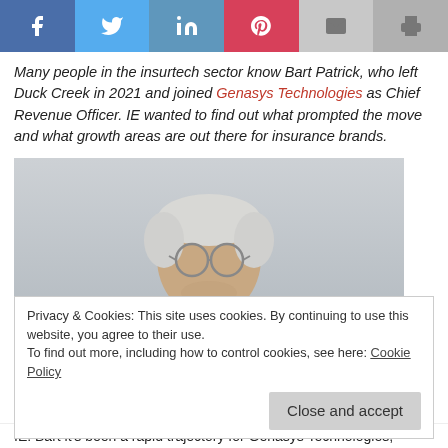[Figure (other): Social sharing bar with Facebook, Twitter, LinkedIn, Pinterest, Email, and Print buttons]
Many people in the insurtech sector know Bart Patrick, who left Duck Creek in 2021 and joined Genasys Technologies as Chief Revenue Officer. IE wanted to find out what prompted the move and what growth areas are out there for insurance brands.
[Figure (photo): Portrait photo of Bart Patrick, a man with grey/white hair and glasses wearing a dark jacket]
Privacy & Cookies: This site uses cookies. By continuing to use this website, you agree to their use.
To find out more, including how to control cookies, see here: Cookie Policy
IE: Bart it's been a rapid trajectory for Genasys Technologies,